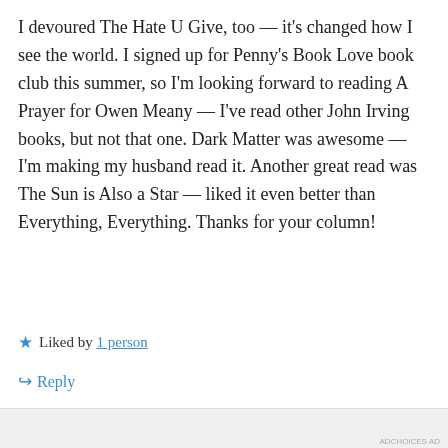I devoured The Hate U Give, too — it's changed how I see the world. I signed up for Penny's Book Love book club this summer, so I'm looking forward to reading A Prayer for Owen Meany — I've read other John Irving books, but not that one. Dark Matter was awesome — I'm making my husband read it. Another great read was The Sun is Also a Star — liked it even better than Everything, Everything. Thanks for your column!
★ Liked by 1 person
↪ Reply
[Figure (other): Advertisement banner: red background with 'An app by listeners, for listeners.' text and Pocket Casts logo with a phone graphic]